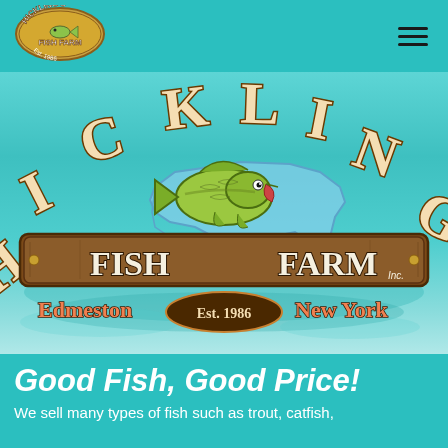[Figure (logo): Hickling's Fish Farm navigation bar logo — small version with fish image and text]
[Figure (logo): Hickling's Fish Farm large hero logo. Arched text 'HICKLING'S' at top in cream/peach with brown outline. Large jumping bass fish in center over outline of New York state. Wooden sign banner reading 'FISH FARM Inc.' Subtext: 'Edmeston Est. 1986 New York'. Teal/aqua water background.]
Good Fish, Good Price!
We sell many types of fish such as trout, catfish,